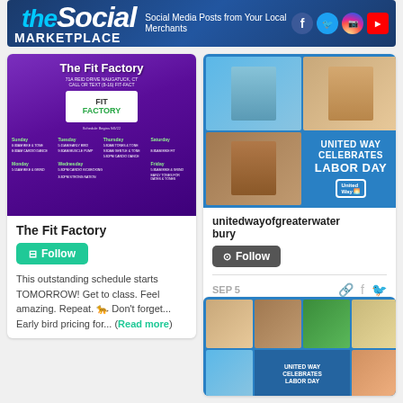[Figure (illustration): Social Marketplace banner with social media icons (Facebook, Twitter, Instagram, YouTube) and tagline 'Social Media Posts from Your Local Merchants']
[Figure (photo): The Fit Factory purple class schedule graphic showing days of the week and class times]
The Fit Factory
Follow
This outstanding schedule starts TOMORROW! Get to class. Feel amazing. Repeat. 🐆 Don't forget... Early bird pricing for... (Read more)
[Figure (photo): United Way Celebrates Labor Day graphic with photos of workers in various professions on blue background]
unitedwayofgreaterwaterbury
Follow
SEP 5
[Figure (photo): Second United Way Celebrates Labor Day collage with multiple worker photos on blue background]